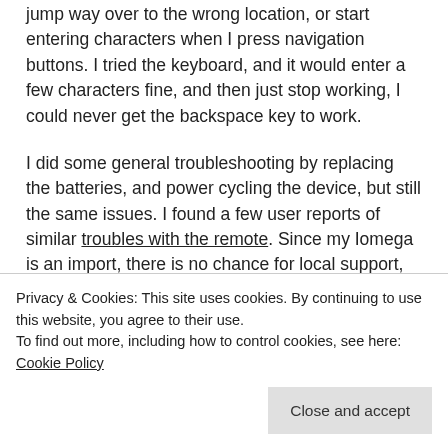jump way over to the wrong location, or start entering characters when I press navigation buttons. I tried the keyboard, and it would enter a few characters fine, and then just stop working, I could never get the backspace key to work.
I did some general troubleshooting by replacing the batteries, and power cycling the device, but still the same issues. I found a few user reports of similar troubles with the remote. Since my Iomega is an import, there is no chance for local support, but given the general complaints about the remote, I am not going to bother trying to
Privacy & Cookies: This site uses cookies. By continuing to use this website, you agree to their use.
To find out more, including how to control cookies, see here: Cookie Policy
Close and accept
and the dedicated D-Link RE remote, but I must say for